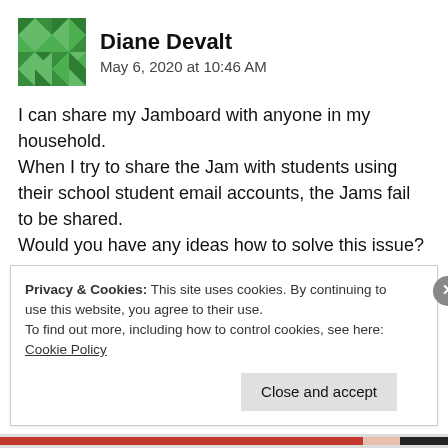Diane Devalt — May 6, 2020 at 10:46 AM
I can share my Jamboard with anyone in my household.
When I try to share the Jam with students using their school student email accounts, the Jams fail to be shared.
Would you have any ideas how to solve this issue? Thank you.
★ Like
Privacy & Cookies: This site uses cookies. By continuing to use this website, you agree to their use.
To find out more, including how to control cookies, see here: Cookie Policy